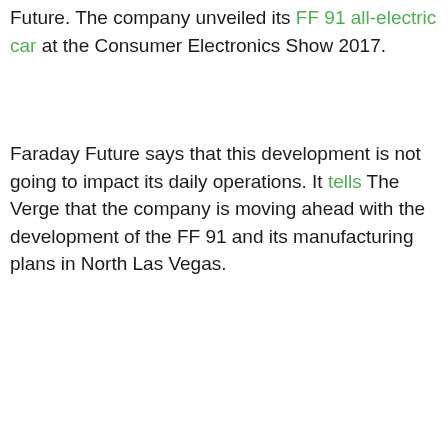Future. The company unveiled its FF 91 all-electric car at the Consumer Electronics Show 2017.
Faraday Future says that this development is not going to impact its daily operations. It tells The Verge that the company is moving ahead with the development of the FF 91 and its manufacturing plans in North Las Vegas.